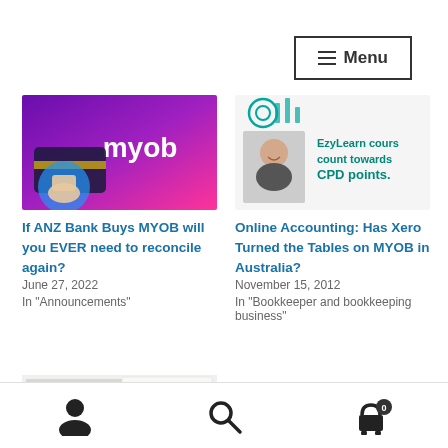Menu
[Figure (screenshot): MYOB logo with credit card and hand - purple/pink gradient background]
If ANZ Bank Buys MYOB will you EVER need to reconcile again?
June 27, 2022
In "Announcements"
[Figure (illustration): EzyLearn courses count towards CPD points - image with woman and teal text]
Online Accounting: Has Xero Turned the Tables on MYOB in Australia?
November 15, 2012
In "Bookkeeper and bookkeeping business"
[Figure (screenshot): Stock market / financial data screenshot with chart]
User account | Search | Cart (0)